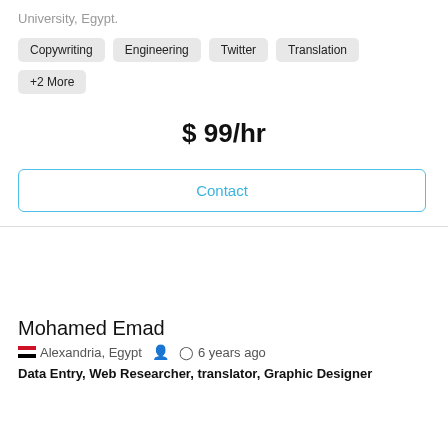University, Egypt.
Copywriting
Engineering
Twitter
Translation
+2 More
$ 99/hr
Contact
Mohamed Emad
Alexandria, Egypt   6 years ago
Data Entry, Web Researcher, translator, Graphic Designer